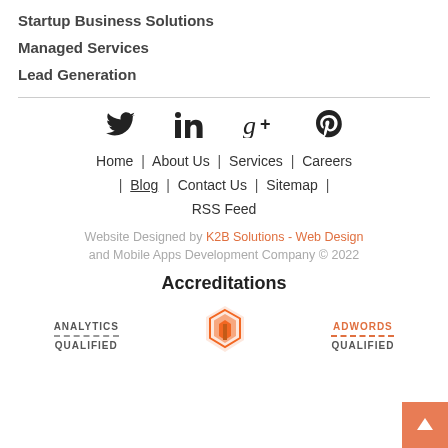Startup Business Solutions
Managed Services
Lead Generation
[Figure (infographic): Social media icons: Twitter bird, LinkedIn 'in', Google+ 'g+', Pinterest 'p']
Home  |  About Us  |  Services  |  Careers  |  Blog  |  Contact Us  |  Sitemap  |  RSS Feed
Website Designed by K2B Solutions - Web Design and Mobile Apps Development Company © 2022
Accreditations
[Figure (logo): Analytics Qualified badge and Magento logo and Adwords Qualified badge at the bottom of page]